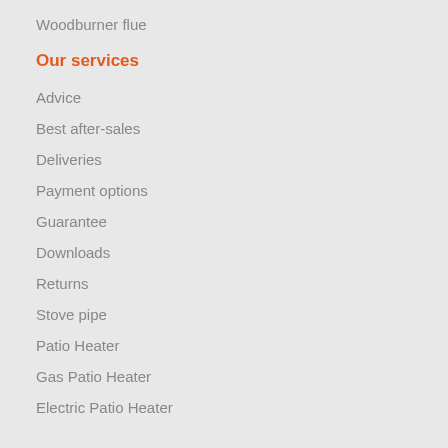Woodburner flue
Our services
Advice
Best after-sales
Deliveries
Payment options
Guarantee
Downloads
Returns
Stove pipe
Patio Heater
Gas Patio Heater
Electric Patio Heater